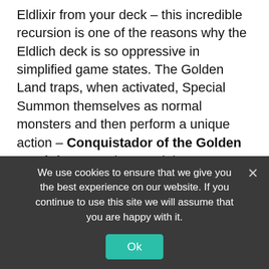Eldlixir from your deck – this incredible recursion is one of the reasons why the Eldlich deck is so oppressive in simplified game states. The Golden Land traps, when activated, Special Summon themselves as normal monsters and then perform a unique action – Conquistador of the Golden Land, for example, Special Summons itself and then destroys one face-up card on the field. There is also Guardian of the Golden Land, which changes the attack of one face-up monster on the field to zero (which means it can be activated during the Damage Step), and Huaquero of the Golden Land, which
We use cookies to ensure that we give you the best experience on our website. If you continue to use this site we will assume that you are happy with it.